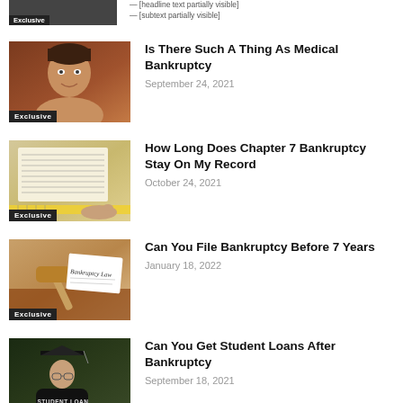[Figure (photo): Partial top article thumbnail with Exclusive badge, partially cropped at top of page]
[Figure (photo): Headshot of a man smiling, brown background, Exclusive badge overlay]
Is There Such A Thing As Medical Bankruptcy
September 24, 2021
[Figure (photo): Financial documents with ruler, Exclusive badge overlay]
How Long Does Chapter 7 Bankruptcy Stay On My Record
October 24, 2021
[Figure (photo): Gavel and paper reading Bankruptcy Law, Exclusive badge overlay]
Can You File Bankruptcy Before 7 Years
January 18, 2022
[Figure (photo): Person in graduation cap with Student Loan text, Exclusive badge overlay]
Can You Get Student Loans After Bankruptcy
September 18, 2021